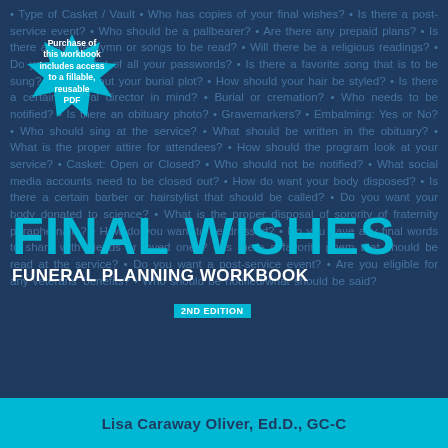[Figure (illustration): Book cover with dark navy background filled with repeated funeral planning questions in light blue text. Large cyan title 'FINAL WISHES' with subtitle 'FUNERAL PLANNING WORKBOOK'. Starburst badge top-left reading 'Purchase of this workbook includes access to a fillable, reusable PDF'. '2ND EDITION' badge below subtitle. Cyan footer bar at bottom.]
FINAL WISHES
FUNERAL PLANNING WORKBOOK
2ND EDITION
Purchase of this workbook includes access to a fillable, reusable PDF
Lisa Caraway Oliver, Ed.D., GC-C